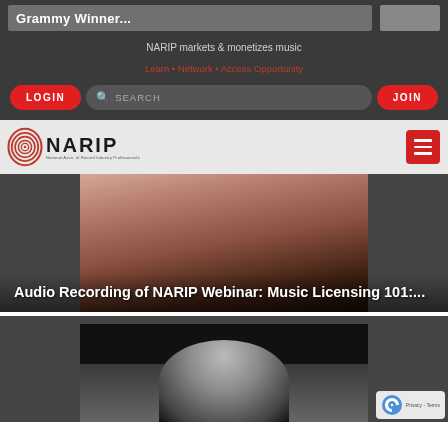Grammy Winner...
NARIP markets & monetizes music
Learn • Network • Access Opportunity
[Figure (screenshot): NARIP website screenshot with LOGIN button, SEARCH bar, and JOIN button]
[Figure (logo): NARIP logo - National Assn. of Record Industry Professionals with spiral graphic]
[Figure (photo): Woman with dark curly hair smiling - close up portrait photo]
Audio Recording of NARIP Webinar: Music Licensing 101:...
[Figure (photo): Black and white photo of person with curly hair]